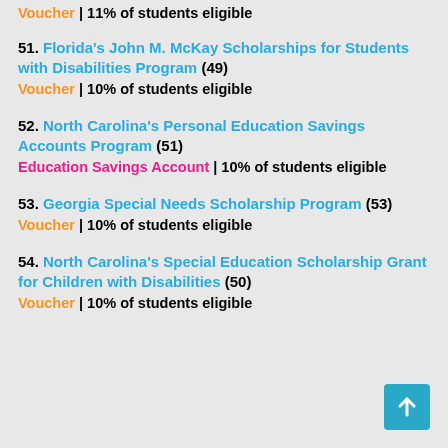Voucher | 11% of students eligible
51. Florida's John M. McKay Scholarships for Students with Disabilities Program (49) Voucher | 10% of students eligible
52. North Carolina's Personal Education Savings Accounts Program (51) Education Savings Account | 10% of students eligible
53. Georgia Special Needs Scholarship Program (53) Voucher | 10% of students eligible
54. North Carolina's Special Education Scholarship Grant for Children with Disabilities (50) Voucher | 10% of students eligible